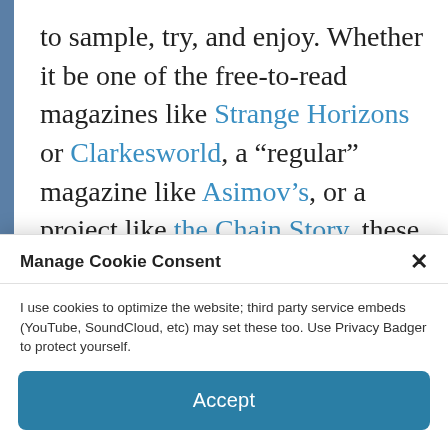to sample, try, and enjoy. Whether it be one of the free-to-read magazines like Strange Horizons or Clarkesworld, a “regular” magazine like Asimov’s, or a project like the Chain Story, these clearinghouses mean that I don’t have to go find everything myself, and that there’s some kind of quality control in place. Just putting your own book on your own [faded line]
Manage Cookie Consent
I use cookies to optimize the website; third party service embeds (YouTube, SoundCloud, etc) may set these too. Use Privacy Badger to protect yourself.
Accept